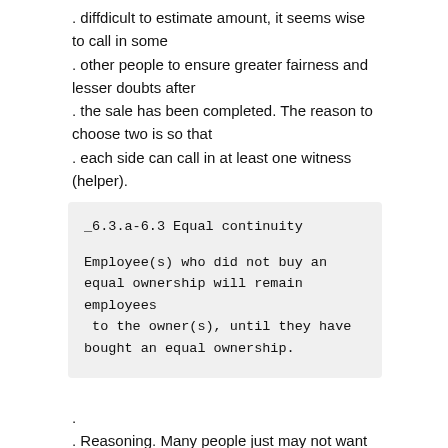. diffdicult to estimate amount, it seems wise to call in some
. other people to ensure greater fairness and lesser doubts after
. the sale has been completed. The reason to choose two is so that
. each side can call in at least one witness (helper).
_6.3.a-6.3 Equal continuity
Employee(s) who did not buy an equal ownership will remain employees
 to the owner(s), until they have bought an equal ownership.
.
. Reasoning. Many people just may not want to be